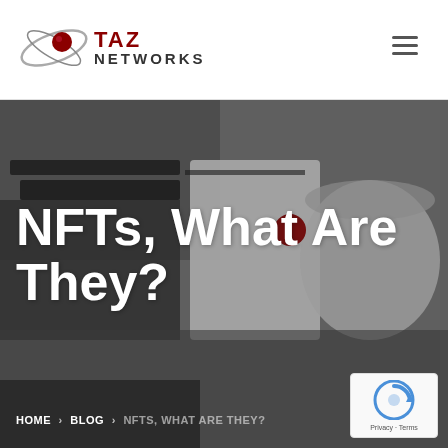[Figure (logo): Taz Networks logo with red sphere and orbital ring graphic, company name in dark red and dark gray]
[Figure (photo): Dark gray-toned photo of office/desk items including what appears to be a coffee cup and paper/book, used as hero banner background]
NFTs, What Are They?
HOME > BLOG > NFTS, WHAT ARE THEY?
[Figure (logo): Google reCAPTCHA badge with blue circular arrow icon, Privacy and Terms links]